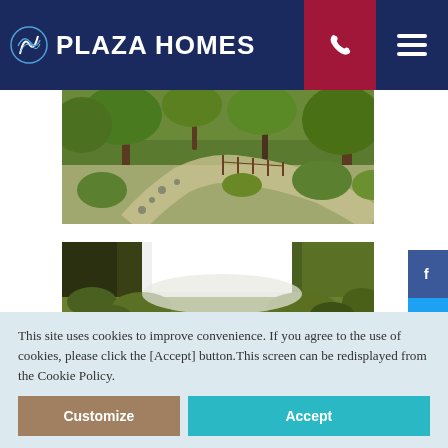PLAZA HOMES
[Figure (photo): Japanese garden path with stone walkway, lush green trees and shrubs]
[Figure (photo): Japanese park with lake reflection, trees and greenery]
[Figure (photo): Japanese garden with green trees and shrubs (partially visible)]
This site uses cookies to improve convenience. If you agree to the use of cookies, please click the [Accept] button.This screen can be redisplayed from the Cookie Policy.
Customize
Accept